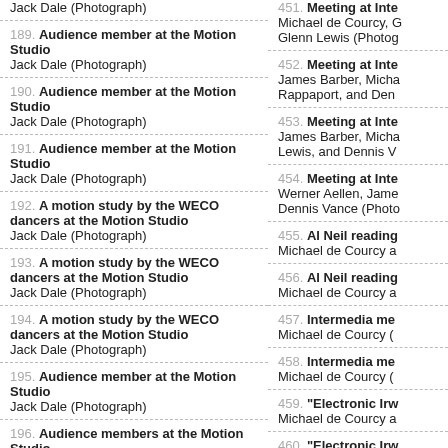Jack Dale (Photograph)
189. Audience member at the Motion Studio
Jack Dale (Photograph)
190. Audience member at the Motion Studio
Jack Dale (Photograph)
191. Audience member at the Motion Studio
Jack Dale (Photograph)
192. A motion study by the WECO dancers at the Motion Studio
Jack Dale (Photograph)
193. A motion study by the WECO dancers at the Motion Studio
Jack Dale (Photograph)
194. A motion study by the WECO dancers at the Motion Studio
Jack Dale (Photograph)
195. Audience member at the Motion Studio
Jack Dale (Photograph)
196. Audience members at the Motion Studio
Jack Dale (Photograph)
197. Audience member at the Motion Studio
Jack Dale (Photograph)
451. Meeting at Inte...
Michael de Courcy, Glenn Lewis (Photog...
452. Meeting at Inte...
James Barber, Micha... Rappaport, and Den...
453. Meeting at Inte...
James Barber, Micha... Lewis, and Dennis V...
454. Meeting at Inte...
Werner Aellen, Jame... Dennis Vance (Photo...
455. Al Neil reading...
Michael de Courcy a...
456. Al Neil reading...
Michael de Courcy a...
457. Intermedia me...
Michael de Courcy (...
458. Intermedia me...
Michael de Courcy (...
459. "Electronic Irw...
Michael de Courcy a...
460. "Electronic Irw...
Michael de Courcy...